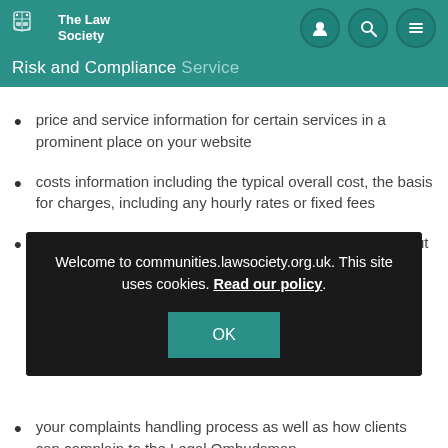The Law Society — Risk and Compliance Service
price and service information for certain services in a prominent place on your website
costs information including the typical overall cost, the basis for charges, including any hourly rates or fixed fees
the experience and qualifications of the person carrying out
[Figure (screenshot): Cookie consent banner overlay: 'Welcome to communities.lawsociety.org.uk. This site uses cookies. Read our policy.' with an OK button.]
your complaints handling process as well as how clients can complain to the Legal Ombudsman